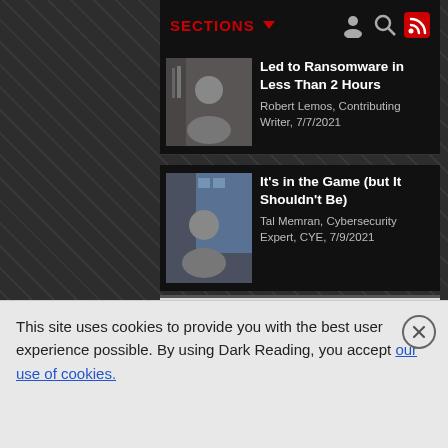SECTIONS
Led to Ransomware in Less Than 2 Hours
Robert Lemos, Contributing Writer, 7/7/2021
It's in the Game (but It Shouldn't Be)
Tal Memran, Cybersecurity Expert, CYE, 7/9/2021
[Figure (infographic): Subscribe to Newsletters banner with news icon showing hands holding a tablet with news text]
SUBSCRIBE TO NEWSLETTERS
LIVE EVENTS	WEBINARS
This site uses cookies to provide you with the best user experience possible. By using Dark Reading, you accept our use of cookies.